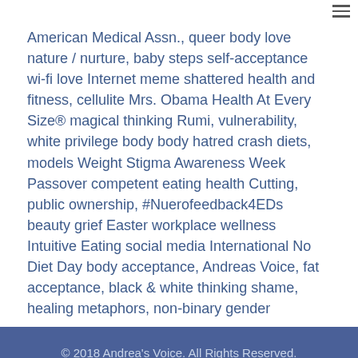≡
American Medical Assn., queer body love nature / nurture, baby steps self-acceptance wi-fi love Internet meme shattered health and fitness, cellulite Mrs. Obama Health At Every Size® magical thinking Rumi, vulnerability, white privilege body body hatred crash diets, models Weight Stigma Awareness Week Passover competent eating health Cutting, public ownership, #Nuerofeedback4EDs beauty grief Easter workplace wellness Intuitive Eating social media International No Diet Day body acceptance, Andreas Voice, fat acceptance, black & white thinking shame, healing metaphors, non-binary gender
© 2018 Andrea's Voice. All Rights Reserved.
Contact | Site Map